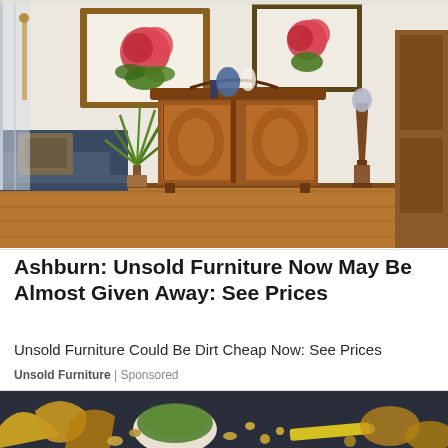[Figure (photo): Interior room scene with antique wooden cabinet, blue sofa with decorative pillow, potted plant, rose paintings on cream wall, wooden floor, and decorative pedestal]
Ashburn: Unsold Furniture Now May Be Almost Given Away: See Prices
Unsold Furniture Could Be Dirt Cheap Now: See Prices
Unsold Furniture | Sponsored
[Figure (photo): Dark background with food items including yellow curved objects, nuts, green herbs in bowl, and various small foods]